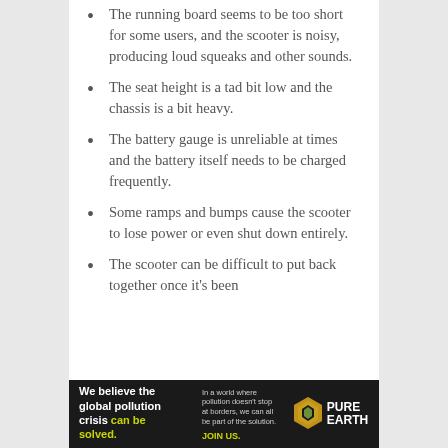The running board seems to be too short for some users, and the scooter is noisy, producing loud squeaks and other sounds.
The seat height is a tad bit low and the chassis is a bit heavy.
The battery gauge is unreliable at times and the battery itself needs to be charged frequently.
Some ramps and bumps cause the scooter to lose power or even shut down entirely.
The scooter can be difficult to put back together once it's been
[Figure (infographic): Pure Earth advertisement banner: 'We believe the global pollution crisis can be solved.' with tagline 'In a world where pollution doesn't stop at borders, we can all be part of the solution. JOIN US.' and Pure Earth logo.]